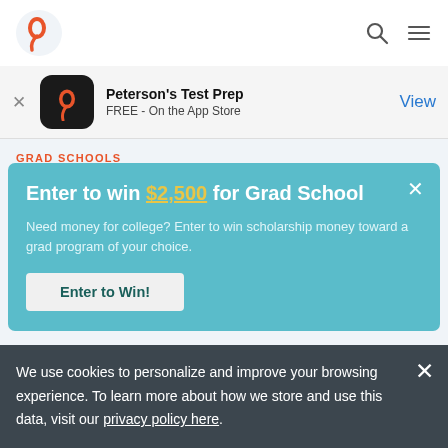Peterson's Test Prep — navigation bar with logo, search, and menu icons
[Figure (screenshot): App store smart banner: Peterson's Test Prep app icon, 'Peterson's Test Prep', 'FREE - On the App Store', View button]
GRAD SCHOOLS
[Figure (infographic): Teal popup overlay: 'Enter to win $2,500 for Grad School' with subtitle 'Need money for college? Enter to win scholarship money toward a grad program of your choice.' and 'Enter to Win!' button]
NOVEMBER 29, 2017 · BY TOM · 4 MINS READ
We use cookies to personalize and improve your browsing experience. To learn more about how we store and use this data, visit our privacy policy here.